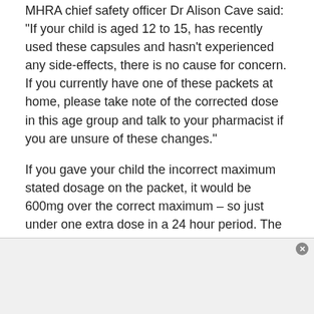MHRA chief safety officer Dr Alison Cave said: "If your child is aged 12 to 15, has recently used these capsules and hasn't experienced any side-effects, there is no cause for concern. If you currently have one of these packets at home, please take note of the corrected dose in this age group and talk to your pharmacist if you are unsure of these changes."
If you gave your child the incorrect maximum stated dosage on the packet, it would be 600mg over the correct maximum – so just under one extra dose in a 24 hour period. The NHS says that if you give your child one extra dose (750mg) of paracetamol by mistake, wait at least 24 hours before giving them any more.
Meanwhile, the previous cold and flu product recall was for
[Figure (other): Advertisement banner at the bottom of the page with a close button (x) in the top-right corner.]